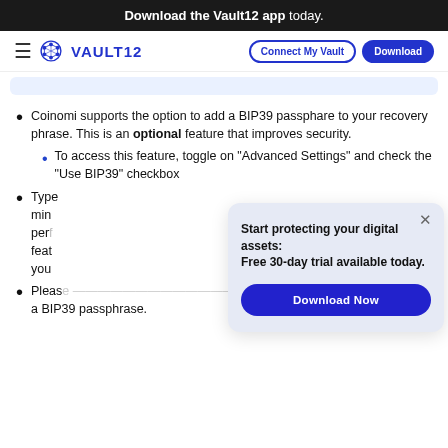Download the Vault12 app today.
VAULT12  Connect My Vault  Download
Coinomi supports the option to add a BIP39 passphare to your recovery phrase. This is an optional feature that improves security.
To access this feature, toggle on "Advanced Settings" and check the "Use BIP39" checkbox
Type [partially obscured] ...
Please [partially obscured] a BIP39 passphrase.
[Figure (screenshot): Popup overlay with text: Start protecting your digital assets: Free 30-day trial available today. With a Download Now button and close X button.]